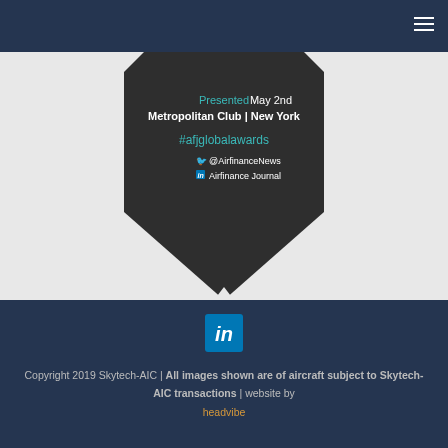[Figure (illustration): Dark pentagon/shield shaped badge with event details: Presented May 2nd, Metropolitan Club, New York, #afjglobalawards, @AirfinanceNews Twitter, Airfinance Journal LinkedIn]
[Figure (logo): LinkedIn square blue logo icon]
Copyright 2019 Skytech-AIC | All images shown are of aircraft subject to Skytech-AIC transactions | website by headvibe